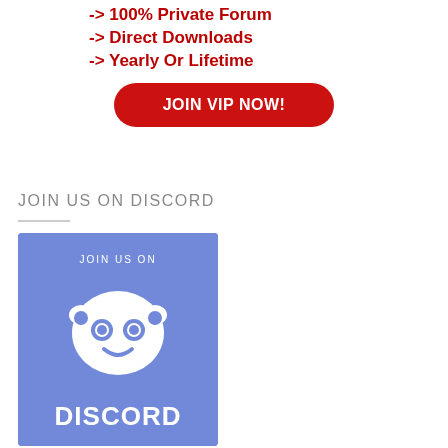-> 100% Private Forum
-> Direct Downloads
-> Yearly Or Lifetime
[Figure (other): Red rounded rectangle button with white bold text reading 'JOIN VIP NOW!']
JOIN US ON DISCORD
[Figure (illustration): Blue Discord banner image with white Discord logo (robot face mascot), text 'JOIN US ON' at top and 'DISCORD' at bottom in white bold letters on blue/periwinkle background.]